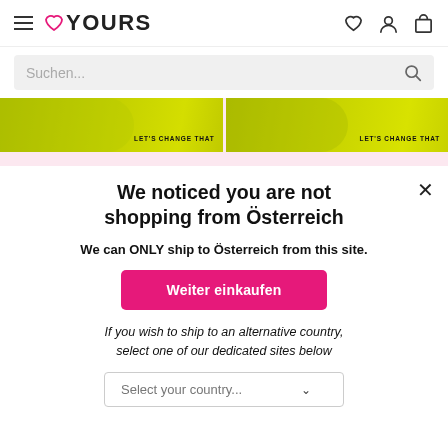YOURS (logo with heart icon, hamburger menu, wishlist, account, cart icons)
Suchen... (search bar with magnifying glass icon)
[Figure (screenshot): Two yellow banner images side by side with text LET'S CHANGE THAT on a pink background strip]
We noticed you are not shopping from Österreich
We can ONLY ship to Österreich from this site.
Weiter einkaufen (pink button)
If you wish to ship to an alternative country, select one of our dedicated sites below
Select your country...